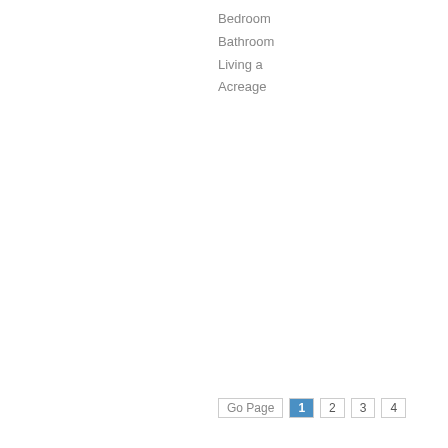Bedroom
Bathroom
Living a
Acreage
5 Bedroom Single Family Ho
.
$5,85
Bedroom
Bathroom
Living a
Acreage
Go Page  1  2  3  4